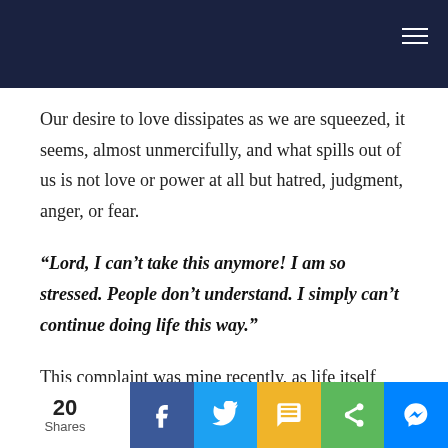Our desire to love dissipates as we are squeezed, it seems, almost unmercifully, and what spills out of us is not love or power at all but hatred, judgment, anger, or fear.
“Lord, I can’t take this anymore! I am so stressed. People don’t understand. I simply can’t continue doing life this way.”
This complaint was mine recently, as life itself seemed to strangle and choke me. Pressure and disappointments from family, a lack of time for the things I most needed to do, some boundary issues that needed confronting, and - for good
20 Shares | Facebook | Twitter | SMS | Share | Messenger